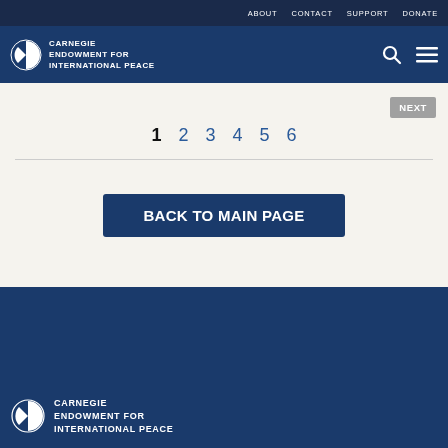ABOUT   CONTACT   SUPPORT   DONATE
[Figure (logo): Carnegie Endowment for International Peace logo in white on dark navy header bar, with search and menu icons]
NEXT
1  2  3  4  5  6
BACK TO MAIN PAGE
[Figure (logo): Carnegie Endowment for International Peace footer logo in white on dark navy background]